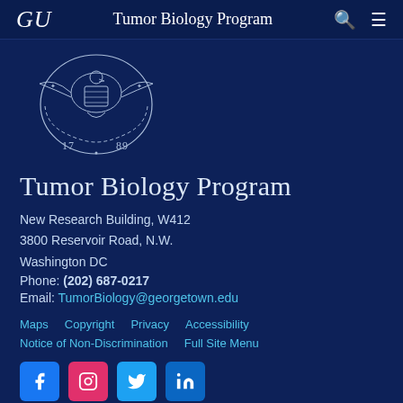GU  Tumor Biology Program
[Figure (logo): Georgetown University seal/crest with eagle and shield, dated 1789]
Tumor Biology Program
New Research Building, W412
3800 Reservoir Road, N.W.
Washington DC
Phone: (202) 687-0217
Email: TumorBiology@georgetown.edu
Maps
Copyright
Privacy
Accessibility
Notice of Non-Discrimination
Full Site Menu
[Figure (other): Social media icons: Facebook, Instagram, Twitter, LinkedIn]